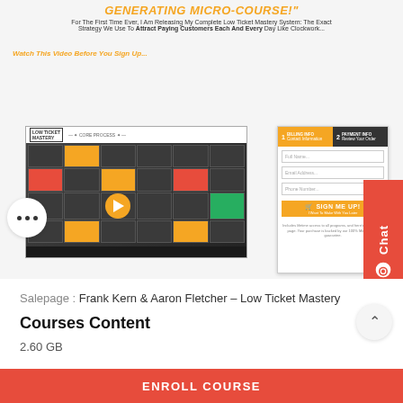GENERATING MICRO-COURSE!
For The First Time Ever, I Am Releasing My Complete Low Ticket Mastery System: The Exact Strategy We Use To Attract Paying Customers Each And Every Day Like Clockwork...
[Figure (screenshot): Screenshot of a sales page with a video player showing Low Ticket Mastery core process diagram and a sign-up form with fields for Full Name, Email Address, Phone Number and a yellow SIGN ME UP button]
Salepage : Frank Kern & Aaron Fletcher – Low Ticket Mastery
Courses Content
2.60 GB
ENROLL COURSE